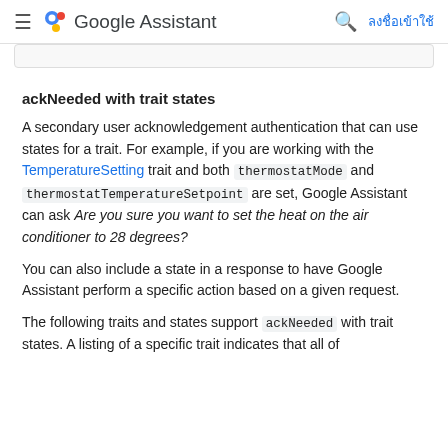≡  Google Assistant  🔍  ลงชื่อเข้าใช้
ackNeeded with trait states
A secondary user acknowledgement authentication that can use states for a trait. For example, if you are working with the TemperatureSetting trait and both thermostatMode and thermostatTemperatureSetpoint are set, Google Assistant can ask Are you sure you want to set the heat on the air conditioner to 28 degrees?
You can also include a state in a response to have Google Assistant perform a specific action based on a given request.
The following traits and states support ackNeeded with trait states. A listing of a specific trait indicates that all of